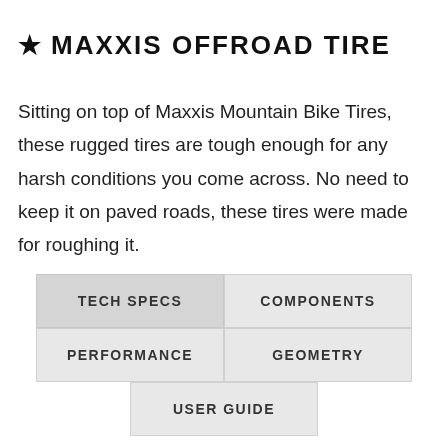★ MAXXIS OFFROAD TIRE
Sitting on top of Maxxis Mountain Bike Tires, these rugged tires are tough enough for any harsh conditions you come across. No need to keep it on paved roads, these tires were made for roughing it.
TECH SPECS
COMPONENTS
PERFORMANCE
GEOMETRY
USER GUIDE